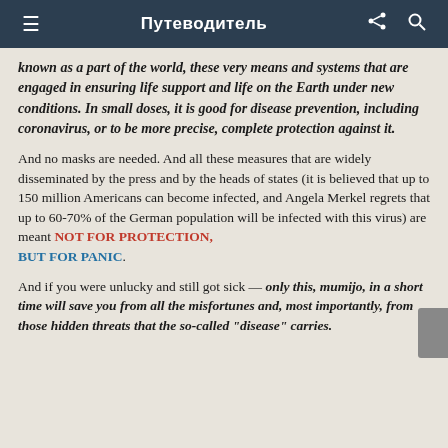Путеводитель
known as a part of the world, these very means and systems that are engaged in ensuring life support and life on the Earth under new conditions. In small doses, it is good for disease prevention, including coronavirus, or to be more precise, complete protection against it.
And no masks are needed. And all these measures that are widely disseminated by the press and by the heads of states (it is believed that up to 150 million Americans can become infected, and Angela Merkel regrets that up to 60-70% of the German population will be infected with this virus) are meant NOT FOR PROTECTION, BUT FOR PANIC.
And if you were unlucky and still got sick — only this, mumijo, in a short time will save you from all the misfortunes and, most importantly, from those hidden threats that the so-called "disease" carries.